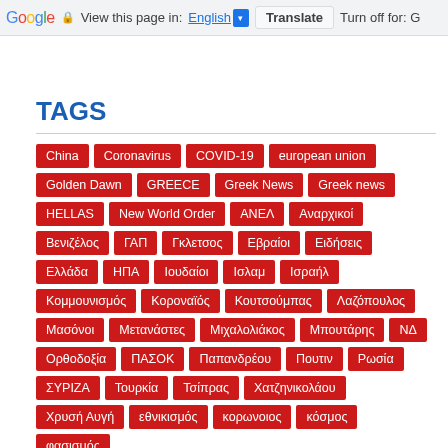Google | View this page in: English [▼] Translate | Turn off for: G
TAGS
China
Coronavirus
COVID-19
european union
Golden Dawn
GREECE
Greek News
Greek news
HELLAS
New World Order
ΑΝΕΛ
Αναρχικοί
Βενιζέλος
ΓΑΠ
Γκλετσος
Εβραίοι
Ειδήσεις
Ελλάδα
ΗΠΑ
Ιουδαίοι
Ισλαμ
Ισραήλ
Κομμουνισμός
Κοροναϊός
Κουτσούμπας
Λαζόπουλος
Μασόνοι
Μετανάστες
Μιχαλολιάκος
Μπουτάρης
ΝΔ
Ορθοδοξία
ΠΑΣΟΚ
Παπανδρέου
Πουτιν
Ρωσία
ΣΥΡΙΖΑ
Τουρκία
Τσίπρας
Χατζηνικολάου
Χρυσή Αυγή
εθνικισμός
κορωνοιος
κόσμος
φασισμός